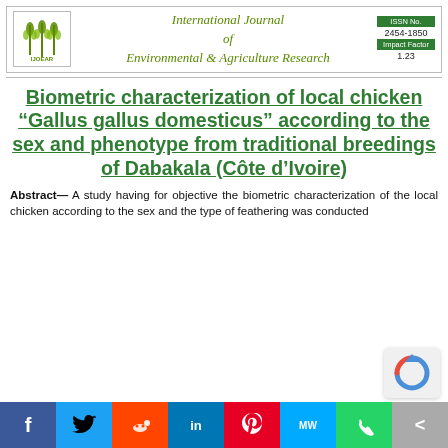International Journal of Environmental & Agriculture Research — ISSN No. 2454-1850 — Impact Factor 1.23
Biometric characterization of local chicken “Gallus gallus domesticus” according to the sex and phenotype from traditional breedings of Dabakala (Côte d’Ivoire)
Abstract— A study having for objective the biometric characterization of the local chicken according to the sex and the type of feathering was conducted